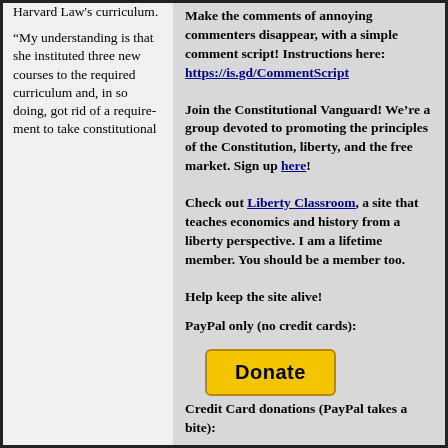Harvard Law's curriculum.
“My understanding is that she instituted three new courses to the required curriculum and, in so doing, got rid of a requirement to take constitutional
Make the comments of annoying commenters disappear, with a simple comment script! Instructions here: https://is.gd/CommentScript
Join the Constitutional Vanguard! We’re a group devoted to promoting the principles of the Constitution, liberty, and the free market. Sign up here!
Check out Liberty Classroom, a site that teaches economics and history from a liberty perspective. I am a lifetime member. You should be a member too.
Help keep the site alive!
PayPal only (no credit cards):
[Figure (other): PayPal Donate button, yellow/gold rounded rectangle with bold text 'Donate']
Credit Card donations (PayPal takes a bite):